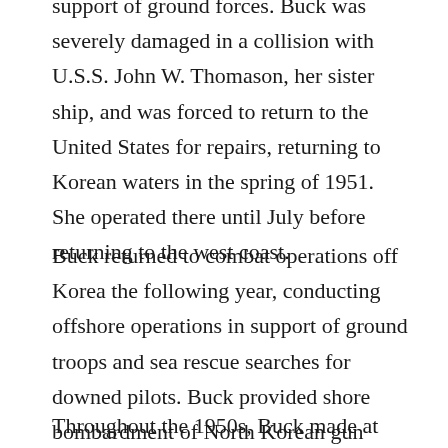support of ground forces. Buck was severely damaged in a collision with U.S.S. John W. Thomason, her sister ship, and was forced to return to the United States for repairs, returning to Korean waters in the spring of 1951. She operated there until July before returning to the west coast.
Buck returned to combat operations off Korea the following year, conducting offshore operations in support of ground troops and sea rescue searches for downed pilots. Buck provided shore bombardment of North Korean gun positions and troop concentrations. Buck was awarded six battle stars for services during the Korean conflict.
Throughout the 1950s, Buck made at least